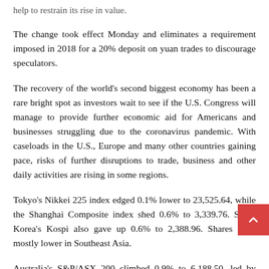help to restrain its rise in value.
The change took effect Monday and eliminates a requirement imposed in 2018 for a 20% deposit on yuan trades to discourage speculators.
The recovery of the world's second biggest economy has been a rare bright spot as investors wait to see if the U.S. Congress will manage to provide further economic aid for Americans and businesses struggling due to the coronavirus pandemic. With caseloads in the U.S., Europe and many other countries gaining pace, risks of further disruptions to trade, business and other daily activities are rising in some regions.
Tokyo's Nikkei 225 index edged 0.1% lower to 23,525.64, while the Shanghai Composite index shed 0.6% to 3,339.76. South Korea's Kospi also gave up 0.6% to 2,388.96. Shares were mostly lower in Southeast Asia.
Australia's S&P/ASX 200 climbed 0.9% to 6,188.50, led by banks' shares. Strong Chinese demand is good news for Australian exporters, though unconfirmed reports that